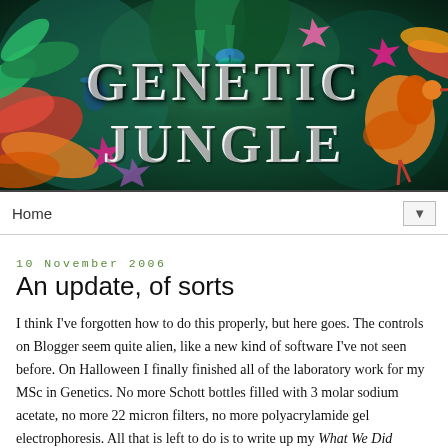[Figure (illustration): Colorful jungle/tropical blog banner header with lush green foliage, colorful flowers, a bright orange bird (ibis), butterflies, and other tropical plants. Large white serif text reads 'GENETIC JUNGLE' centered in the banner.]
Home ▼
10 November 2006
An update, of sorts
I think I've forgotten how to do this properly, but here goes. The controls on Blogger seem quite alien, like a new kind of software I've not seen before. On Halloween I finally finished all of the laboratory work for my MSc in Genetics. No more Schott bottles filled with 3 molar sodium acetate, no more 22 micron filters, no more polyacrylamide gel electrophoresis. All that is left to do is to write up my What We Did During Our Master's Degree style thesis and I can be out of here. Easier said than done, I know. After three years of samey